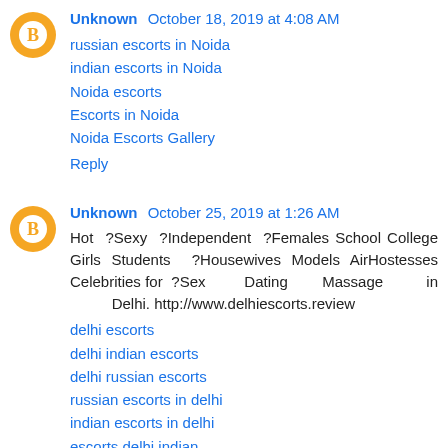Unknown October 18, 2019 at 4:08 AM
russian escorts in Noida
indian escorts in Noida
Noida escorts
Escorts in Noida
Noida Escorts Gallery
Reply
Unknown October 25, 2019 at 1:26 AM
Hot ?Sexy ?Independent ?Females School College Girls Students ?Housewives Models AirHostesses Celebrities for ?Sex Dating Massage in Delhi. http://www.delhiescorts.review
delhi escorts
delhi indian escorts
delhi russian escorts
russian escorts in delhi
indian escorts in delhi
escorts delhi indian
Female escorts in delhi